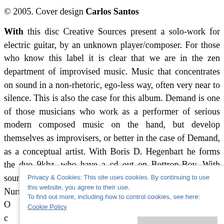© 2005. Cover design Carlos Santos
With this disc Creative Sources present a solo-work for electric guitar, by an unknown player/composer. For those who know this label it is clear that we are in the zen department of improvised music. Music that concentrates on sound in a non-rhetoric, ego-less way, often very near to silence. This is also the case for this album. Demand is one of those musicians who work as a performer of serious modern composed music on the hand, but develop themselves as improvisers, or better in the case of Demand, as a conceptual artist. With Boris D. Hegenbart he forms the duo 9khz, who have a cd out on Bottrop-Boy. With sound-artist Ralf Kleinemas he made an album for Nurnichtnur. O... c... 2 m... ly di... re a... in Hamburg in the spring of 2005. Demand makes use of unusual
Privacy & Cookies: This site uses cookies. By continuing to use this website, you agree to their use. To find out more, including how to control cookies, see here: Cookie Policy
Close and accept